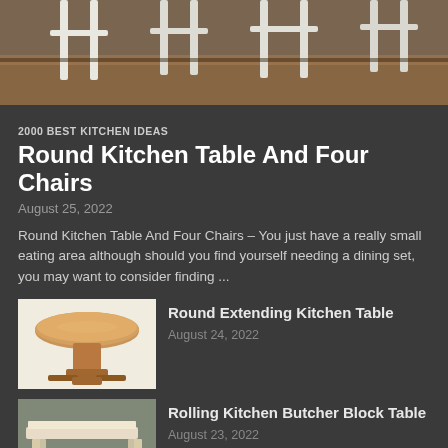[Figure (photo): Top portion of a dining table with white chairs visible, brown wooden table surface, cropped view from above/side]
2000 BEST KITCHEN IDEAS
Round Kitchen Table And Four Chairs
August 25, 2022
Round Kitchen Table And Four Chairs – You just have a really small eating area although should you find yourself needing a dining set, you may want to consider finding ...
[Figure (photo): A round wooden extending kitchen table with pedestal base, brown finish, on white background]
Round Extending Kitchen Table
August 24, 2022
[Figure (photo): A rolling kitchen butcher block table with lower shelf, light wood/cream finish, outdoors on pavement]
Rolling Kitchen Butcher Block Table
August 23, 2022